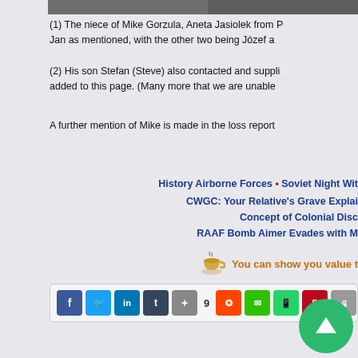[Figure (photo): Top strip of a photograph, partially visible at top of page]
(1) The niece of Mike Gorzula, Aneta Jasiolek from P... Jan as mentioned, with the other two being Józef a...
(2) His son Stefan (Steve) also contacted and suppli... added to this page. (Many more that we are unable...
A further mention of Mike is made in the loss report...
History Airborne Forces • Soviet Night Witc...
CWGC: Your Relative's Grave Explai...
Concept of Colonial Disc...
RAAF Bomb Aimer Evades with M...
You can show you value t...
9